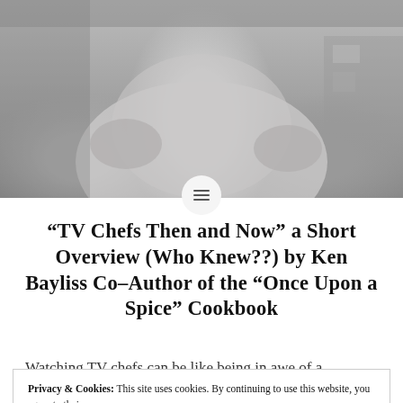[Figure (photo): Black and white photograph of a person (chef/cook) in a kitchen setting, hands visible, wearing a white shirt or apron]
“TV Chefs Then and Now” a Short Overview (Who Knew??) by Ken Bayliss Co–Author of the “Once Upon a Spice” Cookbook
Watching TV chefs can be like being in awe of a
Privacy & Cookies: This site uses cookies. By continuing to use this website, you agree to their use.
To find out more, including how to control cookies, see here:
Cookie Policy

Close and accept